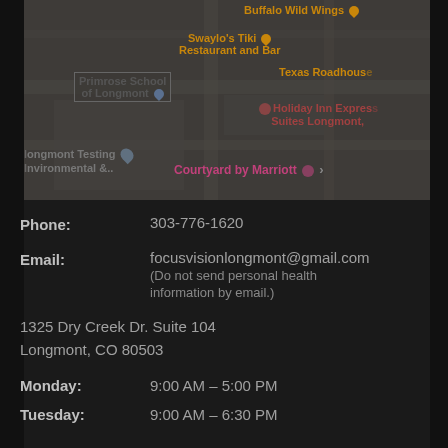[Figure (map): Google Maps screenshot showing Longmont, CO area with pins for Buffalo Wild Wings, Swaylo's Tiki Restaurant and Bar, Primrose School of Longmont, Texas Roadhouse, Holiday Inn Express Suites Longmont, Longmont Testing Environmental &..., and Courtyard by Marriott]
Phone: 303-776-1620
Email: focusvisionlongmont@gmail.com (Do not send personal health information by email.)
1325 Dry Creek Dr. Suite 104
Longmont, CO 80503
Monday: 9:00 AM – 5:00 PM
Tuesday: 9:00 AM – 6:30 PM